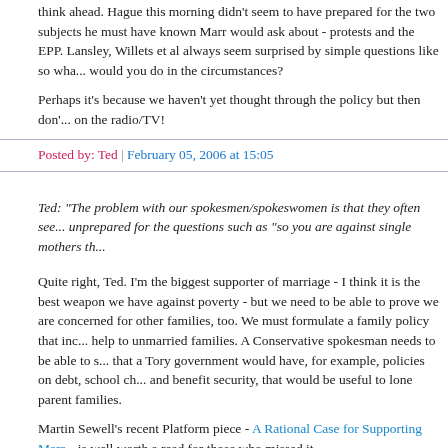think ahead. Hague this morning didn't seem to have prepared for the two subjects he must have known Marr would ask about - protests and the EPP. Lansley, Willets et al always seem surprised by simple questions like so what would you do in the circumstances?
Perhaps it's because we haven't yet thought through the policy but then don't go on the radio/TV!
Posted by: Ted | February 05, 2006 at 15:05
Ted: "The problem with our spokesmen/spokeswomen is that they often see... unprepared for the questions such as "so you are against single mothers th...
Quite right, Ted. I'm the biggest supporter of marriage - I think it is the best weapon we have against poverty - but we need to be able to prove we are concerned for other families, too. We must formulate a family policy that inc... help to unmarried families. A Conservative spokesman needs to be able to s... that a Tory government would have, for example, policies on debt, school ch... and benefit security, that would be useful to lone parent families.
Martin Sewell's recent Platform piece - A Rational Case for Supporting Marr... is well worth a read for those who missed it.
Posted by: Editor | February 05, 2006 at 15:27